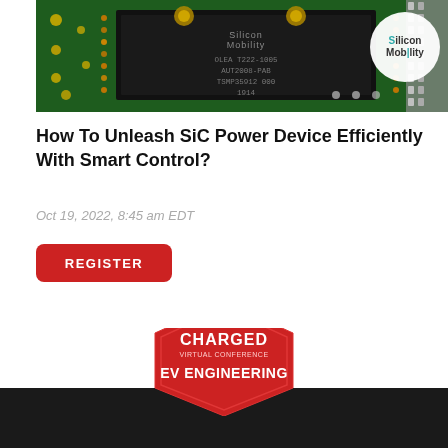[Figure (photo): Close-up photo of a Silicon Mobility chip (OLEA T222-1005, AUT2008-PAB, TSMP35912 000, 1914) on a green PCB with yellow and silver solder points and a white circular Silicon Mobility logo overlay in the top right corner]
How To Unleash SiC Power Device Efficiently With Smart Control?
Oct 19, 2022, 8:45 am EDT
REGISTER
[Figure (logo): Charged Virtual Conference EV Engineering badge/logo — red pentagon shield shape with 'CHARGED VIRTUAL CONFERENCE' and 'EV ENGINEERING' text, partially visible at bottom of page over a dark bar]